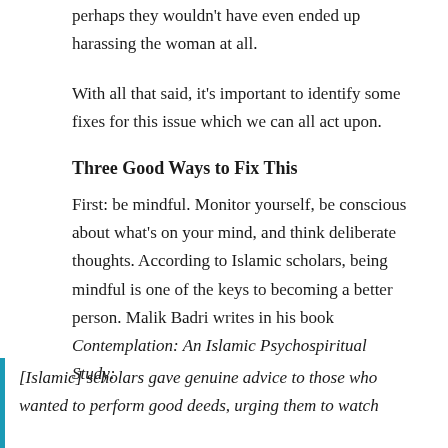perhaps they wouldn't have even ended up harassing the woman at all.
With all that said, it's important to identify some fixes for this issue which we can all act upon.
Three Good Ways to Fix This
First: be mindful. Monitor yourself, be conscious about what's on your mind, and think deliberate thoughts. According to Islamic scholars, being mindful is one of the keys to becoming a better person. Malik Badri writes in his book Contemplation: An Islamic Psychospiritual Study:
[Islamic] scholars gave genuine advice to those who wanted to perform good deeds, urging them to watch